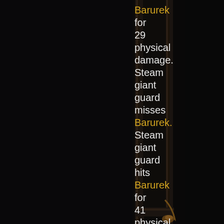[Figure (screenshot): Dark game screenshot showing a wooden door or gate frame on a very dark/black background, viewed from inside a room. The door structure has wooden borders with slight golden-brown trim visible at lower portion.]
Barurek for 29 physical damage. Steam giant guard misses Barurek. Steam giant guard hits Barurek for 41 physical damage. Barurek the level